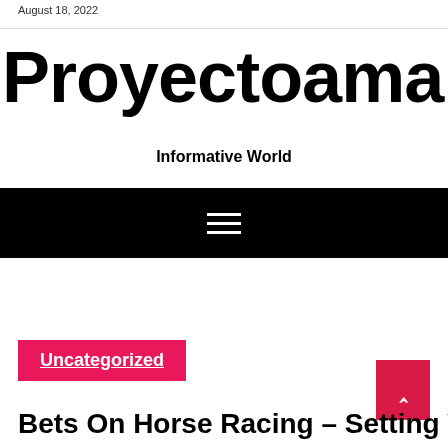August 18, 2022
Proyectoamanda.co
Informative World
[Figure (other): Black navigation bar with a white hamburger menu icon (three horizontal lines)]
Uncategorized
Bets On Horse Racing – Setting Way